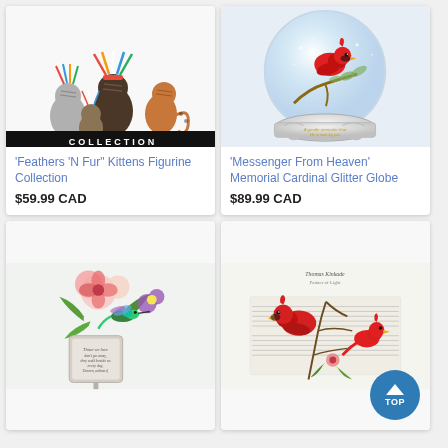[Figure (photo): Cat figurines dressed in Native American headdresses and costumes, with a black COLLECTION banner at the bottom]
'Feathers 'N Fur" Kittens Figurine Collection
$59.99 CAD
[Figure (photo): A glitter globe/snow globe featuring a red cardinal bird on a branch inside a clear dome, on a white ornate base]
'Messenger From Heaven' Memorial Cardinal Glitter Globe
$89.99 CAD
[Figure (photo): A decorative garden stake featuring hummingbirds and flowers with a memorial poem inscription]
[Figure (photo): A decorative scene with red cardinals on branches with sheet music background, Thomas Kinkade Painter of Light branding at top]